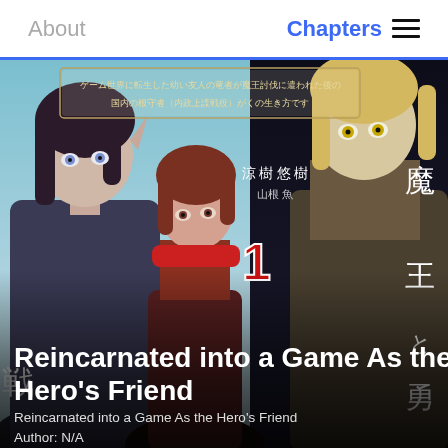About    Chapters
[Figure (illustration): Manga light novel volume 1 cover art for 'Reincarnated into a Game As the Hero's Friend'. Shows three anime-style characters — a dark-haired elf-like character on the left, a red-haired character in the center front, and a blonde character with yellow eyes on the right. Japanese text and kanji title visible. Volume number '1' shown in red. Author name in Japanese: 涼樹悠樹 / 山根九.]
Reincarnated into a Game As the Hero's Friend
Reincarnated into a Game As the Hero's Friend
Author: N/A